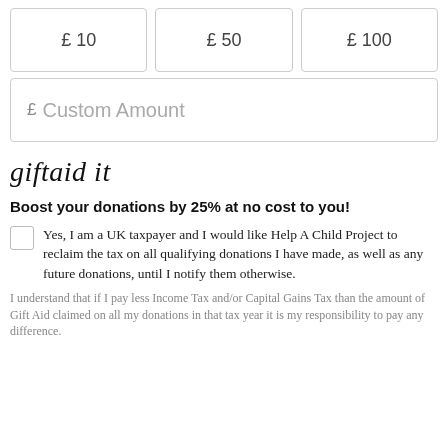£ 10
£ 50
£ 100
£ Custom Amount
[Figure (logo): giftaid it logo in italic handwriting script]
Boost your donations by 25% at no cost to you!
Yes, I am a UK taxpayer and I would like Help A Child Project to reclaim the tax on all qualifying donations I have made, as well as any future donations, until I notify them otherwise.
I understand that if I pay less Income Tax and/or Capital Gains Tax than the amount of Gift Aid claimed on all my donations in that tax year it is my responsibility to pay any difference.